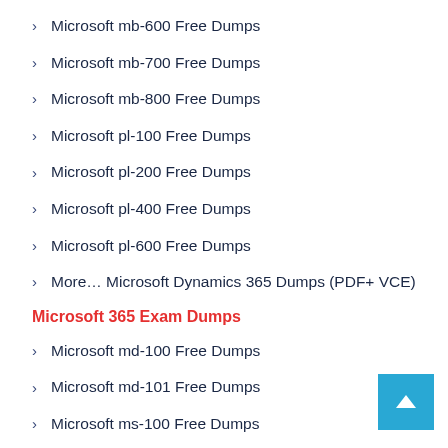Microsoft mb-600 Free Dumps
Microsoft mb-700 Free Dumps
Microsoft mb-800 Free Dumps
Microsoft pl-100 Free Dumps
Microsoft pl-200 Free Dumps
Microsoft pl-400 Free Dumps
Microsoft pl-600 Free Dumps
More… Microsoft Dynamics 365 Dumps (PDF+ VCE)
Microsoft 365 Exam Dumps
Microsoft md-100 Free Dumps
Microsoft md-101 Free Dumps
Microsoft ms-100 Free Dumps
Microsoft ms-101 Free Dumps
Microsoft ms-200 Free Dumps